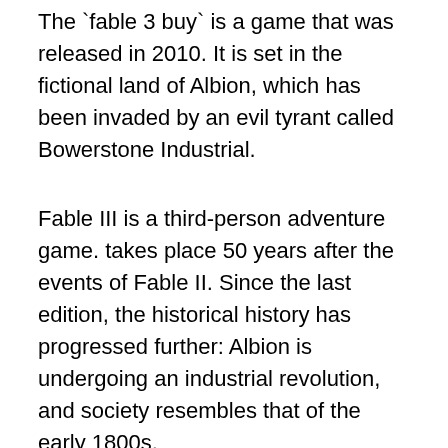The `fable 3 buy` is a game that was released in 2010. It is set in the fictional land of Albion, which has been invaded by an evil tyrant called Bowerstone Industrial.
Fable III is a third-person adventure game. takes place 50 years after the events of Fable II. Since the last edition, the historical history has progressed further: Albion is undergoing an industrial revolution, and society resembles that of the early 1800s.
When did Fable 3 come out, given this?